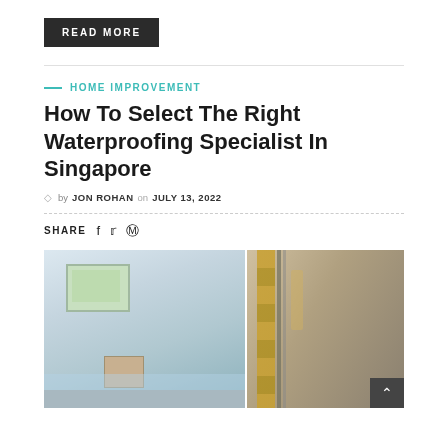READ MORE
HOME IMPROVEMENT
How To Select The Right Waterproofing Specialist In Singapore
by JON ROHAN on JULY 13, 2022
SHARE
[Figure (photo): Two-panel renovation photo: left shows a kitchen under renovation with window and covered furniture, right shows close-up of orange/brown tarp or drop cloth with tools]